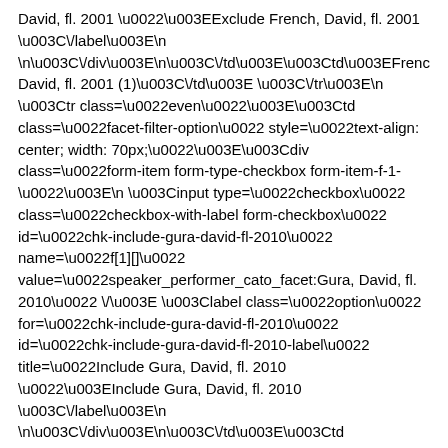David, fl. 2001 \u0022\u003EExclude French, David, fl. 2001 \u003C\/label\u003E\n \n\u003C\/div\u003E\n\u003C\/td\u003E\u003Ctd\u003EFrench, David, fl. 2001 (1)\u003C\/td\u003E \u003C\/tr\u003E\n \u003Ctr class=\u0022even\u0022\u003E\u003Ctd class=\u0022facet-filter-option\u0022 style=\u0022text-align: center; width: 70px;\u0022\u003E\u003Cdiv class=\u0022form-item form-type-checkbox form-item-f-1-\u0022\u003E\n \u003Cinput type=\u0022checkbox\u0022 class=\u0022checkbox-with-label form-checkbox\u0022 id=\u0022chk-include-gura-david-fl-2010\u0022 name=\u0022f[1][]\u0022 value=\u0022speaker_performer_cato_facet:Gura, David, fl. 2010\u0022 \/\u003E \u003Clabel class=\u0022option\u0022 for=\u0022chk-include-gura-david-fl-2010\u0022 id=\u0022chk-include-gura-david-fl-2010-label\u0022 title=\u0022Include Gura, David, fl. 2010 \u0022\u003EInclude Gura, David, fl. 2010 \u003C\/label\u003E\n \n\u003C\/div\u003E\n\u003C\/td\u003E\u003Ctd class=\u0022facet-filter-option\u0022 style=\u0022text-align: center; width: 70px;\u0022\u003E\u003Cdiv class=\u0022form-item form-type-checkbox form-item-f-\u0022\u003E\n \u003Cinput type=\u0022checkbox\u0022 class=\u0022checkbox-with-label form-checkbox\u0022 id=\u0022chk-exclude-gura-david-fl-2010\u0022 name=\u0022f[]\u0022 value=\u0022-speaker_performer_cato_facet:Gura, David, fl. 2010\u0022